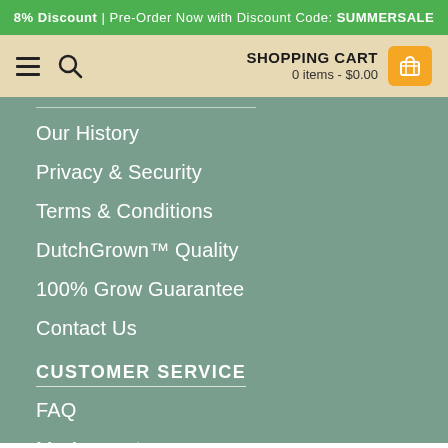8% Discount | Pre-Order Now with Discount Code: SUMMERSALE
SHOPPING CART 0 items - $0.00
Our History
Privacy & Security
Terms & Conditions
DutchGrown™ Quality
100% Grow Guarantee
Contact Us
CUSTOMER SERVICE
FAQ
My Account
Shipping Schedule
Shipping Rates